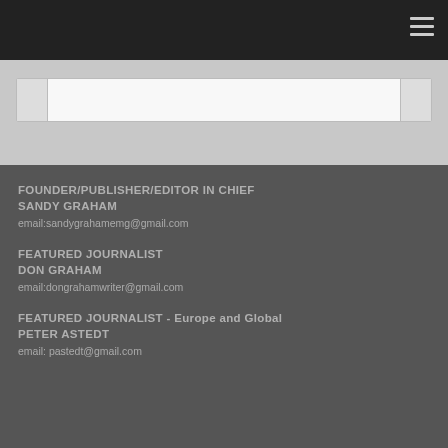[Figure (screenshot): Top navigation bar with dark background and hamburger menu icon in upper right]
[Figure (screenshot): Search bar area with light gray background containing a search input field]
FOUNDER/PUBLISHER/EDITOR IN CHIEF
SANDY GRAHAM
email:sandygrahamemg@gmail.com
FEATURED JOURNALIST
DON GRAHAM
email:dongrahamwriter@gmail.com
FEATURED JOURNALIST - Europe and Global
PETER ASTEDT
email: pastedt@gmail.com